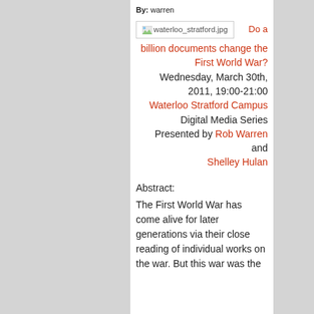By: warren
[Figure (screenshot): Broken image placeholder showing waterloo_stratford.jpg]
Do a billion documents change the First World War?
Wednesday, March 30th, 2011, 19:00-21:00
Waterloo Stratford Campus Digital Media Series
Presented by Rob Warren and Shelley Hulan
Abstract:
The First World War has come alive for later generations via their close reading of individual works on the war. But this war was the